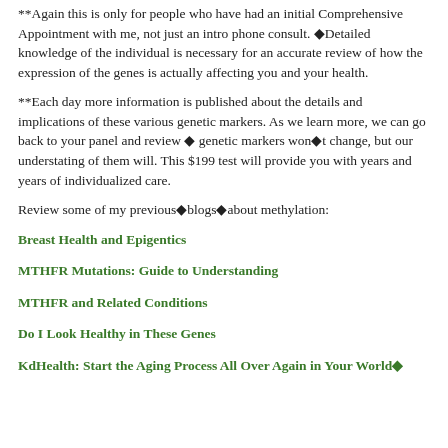**Again this is only for people who have had an initial Comprehensive Appointment with me, not just an intro phone consult. ❖Detailed knowledge of the individual is necessary for an accurate review of how the expression of the genes is actually affecting you and your health.
**Each day more information is published about the details and implications of these various genetic markers. As we learn more, we can go back to your panel and review ❖ genetic markers won❖t change, but our understating of them will. This $199 test will provide you with years and years of individualized care.
Review some of my previous❖blogs❖about methylation:
Breast Health and Epigentics
MTHFR Mutations: Guide to Understanding
MTHFR and Related Conditions
Do I Look Healthy in These Genes
KdHealth: Start the Aging Process All Over Again in Your World❖